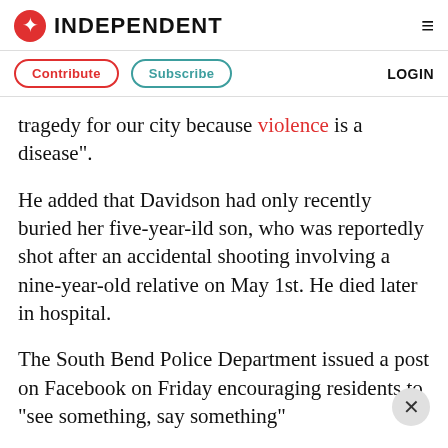INDEPENDENT
Contribute  Subscribe  LOGIN
tragedy for our city because violence is a disease”.
He added that Davidson had only recently buried her five-year-ild son, who was reportedly shot after an accidental shooting involving a nine-year-old relative on May 1st. He died later in hospital.
The South Bend Police Department issued a post on Facebook on Friday encouraging residents to “see something, say something”